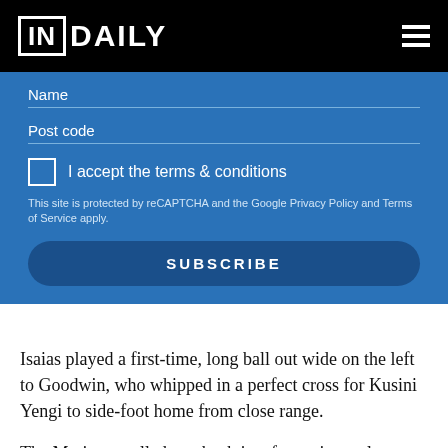INDAILY
[Figure (screenshot): InDaily subscription form with Name and Post code fields, checkbox for terms & conditions, reCAPTCHA notice, and SUBSCRIBE button on blue background]
Isaias played a first-time, long ball out wide on the left to Goodwin, who whipped in a perfect cross for Kusini Yengi to side-foot home from close range.
The Mariners pulled one back just four minutes later thanks to substitute Storm Roux, and Central Coast pushed for an equaliser but in stoppage time the Reds scored a third